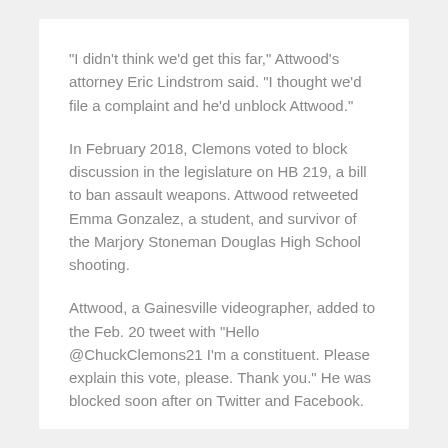“I didn’t think we’d get this far,” Attwood’s attorney Eric Lindstrom said. “I thought we’d file a complaint and he’d unblock Attwood.”
In February 2018, Clemons voted to block discussion in the legislature on HB 219, a bill to ban assault weapons. Attwood retweeted Emma Gonzalez, a student, and survivor of the Marjory Stoneman Douglas High School shooting.
Attwood, a Gainesville videographer, added to the Feb. 20 tweet with “Hello @ChuckClemons21 I’m a constituent. Please explain this vote, please. Thank you.” He was blocked soon after on Twitter and Facebook.